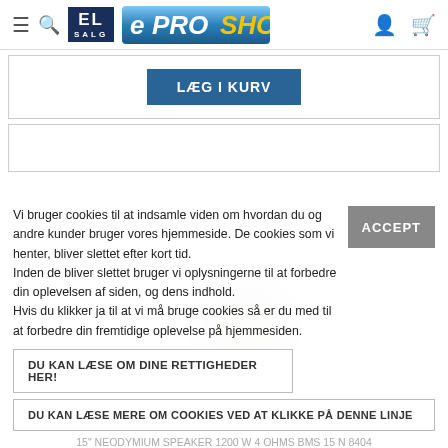EL SALG | EPROSHOP header navigation
[Figure (screenshot): LÆG I KURV blue button inside a product card border]
[Figure (screenshot): Second product card border empty]
Vi bruger cookies til at indsamle viden om hvordan du og andre kunder bruger vores hjemmeside. De cookies som vi henter, bliver slettet efter kort tid. Inden de bliver slettet bruger vi oplysningerne til at forbedre din oplevelsen af siden, og dens indhold. Hvis du klikker ja til at vi må bruge cookies så er du med til at forbedre din fremtidige oplevelse på hjemmesiden.
ACCEPT
DU KAN LÆSE OM DINE RETTIGHEDER HER!
DU KAN LÆSE MERE OM COOKIES VED AT KLIKKE PÅ DENNE LINJE
15" NEODYMIUM SPEAKER 1200 W 4 OHMS BMS 15 N 8404
5 905,50 kr